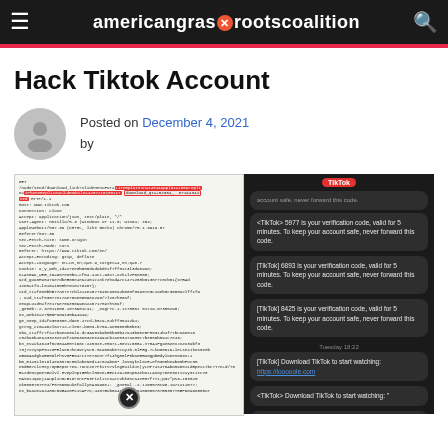americangrassrootscoalition
Hack Tiktok Account
Posted on December 4, 2021 by
[Figure (screenshot): Screenshot of HTTP request code with highlighted URL parameters in red, showing a GET request to tiktok.com with various headers and cookie data]
[Figure (screenshot): Screenshot of TikTok SMS verification code messages in a dark-themed messaging app, showing multiple verification codes (5977, 6893, 8425) and download links]